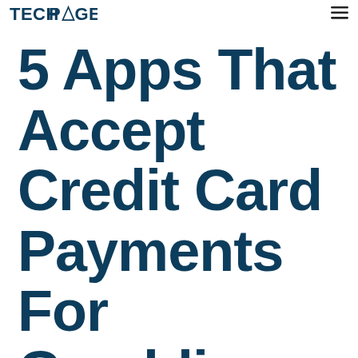TECHPAGES
5 Apps That Accept Credit Card Payments For Gambling